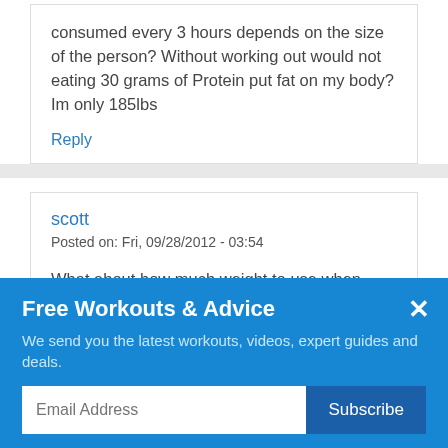consumed every 3 hours depends on the size of the person? Without working out would not eating 30 grams of Protein put fat on my body? Im only 185lbs
Reply
scott
Posted on: Fri, 09/28/2012 - 03:54
What about how much weight to use when doing these exercises
Free Workouts & Advice
We send you the latest workouts, videos, expert guides and deals.
Email Address
Subscribe